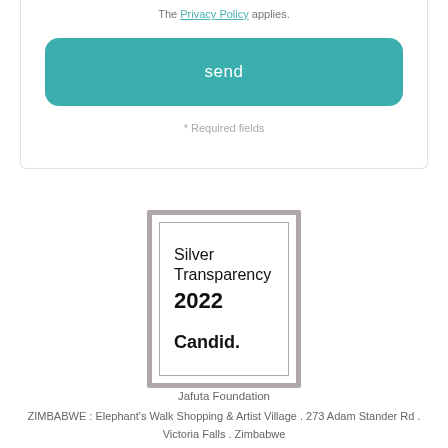The Privacy Policy applies.
send
* Required fields
[Figure (logo): Candid Silver Transparency 2022 badge — square badge with double border, text reading 'Silver Transparency 2022' and 'Candid.']
Jafuta Foundation
ZIMBABWE : Elephant's Walk Shopping & Artist Village . 273 Adam Stander Rd . Victoria Falls . Zimbabwe